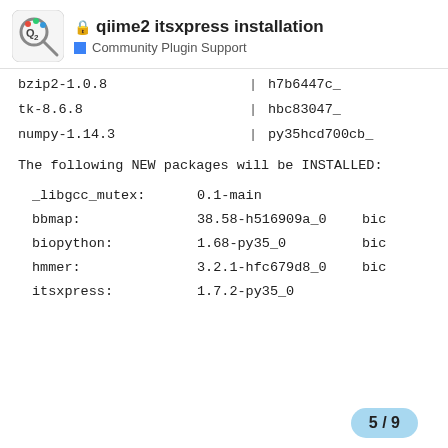qiime2 itsxpress installation — Community Plugin Support
bzip2-1.0.8                              |         h7b6447c_
tk-8.6.8                                 |         hbc83047_
numpy-1.14.3                             |         py35hcd700cb_
The following NEW packages will be INSTALLED:
_libgcc_mutex:    0.1-main
bbmap:            38.58-h516909a_0       bic
biopython:        1.68-py35_0            bic
hmmer:            3.2.1-hfc679d8_0       bic
itsxpress:        1.7.2-py35_0